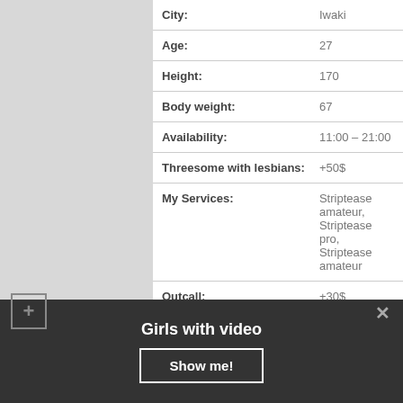| Field | Value |
| --- | --- |
| City: | Iwaki |
| Age: | 27 |
| Height: | 170 |
| Body weight: | 67 |
| Availability: | 11:00 – 21:00 |
| Threesome with lesbians: | +50$ |
| My Services: | Striptease amateur, Striptease pro, Striptease amateur |
| Outcall: | +30$ |
| 1H PRICE: | 150 |
Girls with video
Show me!